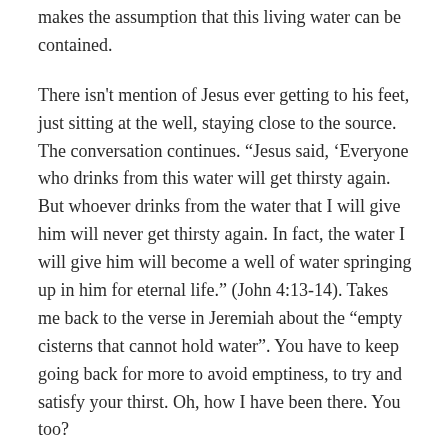makes the assumption that this living water can be contained.
There isn't mention of Jesus ever getting to his feet, just sitting at the well, staying close to the source. The conversation continues. “Jesus said, ‘Everyone who drinks from this water will get thirsty again. But whoever drinks from the water that I will give him will never get thirsty again. In fact, the water I will give him will become a well of water springing up in him for eternal life.” (John 4:13‑14). Takes me back to the verse in Jeremiah about the “empty cisterns that cannot hold water”. You have to keep going back for more to avoid emptiness, to try and satisfy your thirst. Oh, how I have been there. You too?
So what do we do? We who are so much like the